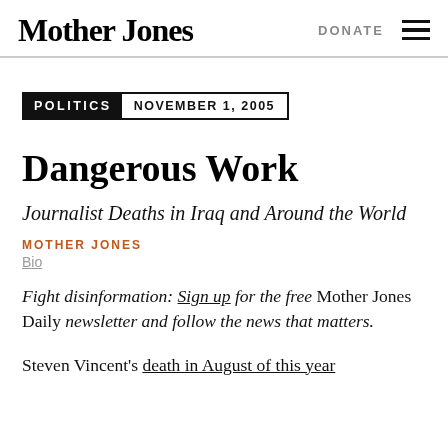Mother Jones | DONATE
POLITICS  NOVEMBER 1, 2005
Dangerous Work
Journalist Deaths in Iraq and Around the World
MOTHER JONES
Bio
Fight disinformation: Sign up for the free Mother Jones Daily newsletter and follow the news that matters.
Steven Vincent's death in August of this year